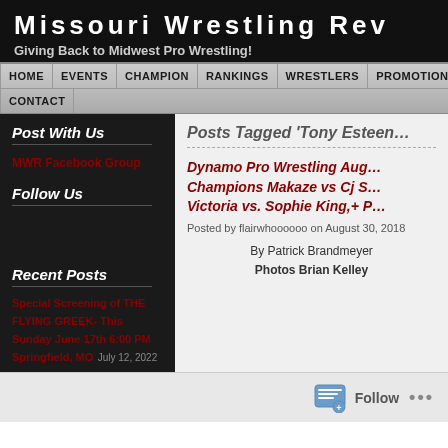Missouri Wrestling Rev
Giving Back to Midwest Pro Wrestling!
HOME | EVENTS | CHAMPION | RANKINGS | WRESTLERS | PROMOTIONS | CONTACT
Post With Us
MWR Facebook Group
Follow Us
Recent Posts
Special Screening of THE FLYING GREEK- This Sunday June 17th 6:00 PM Springfield, MO July 12, 2022
Posts Tagged ‘Tony Esteen…
Dynamo Pro Wrestling Aug… Champions Makaze vs Cj S… Victoria vs. Sophie King,+ P…
Posted by flairwhoooooo on August 30, 2018
By Patrick Brandmeyer
Photos Brian Kelley